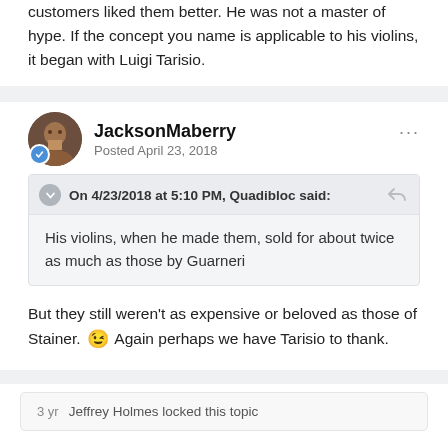customers liked them better. He was not a master of hype. If the concept you name is applicable to his violins, it began with Luigi Tarisio.
JacksonMaberry
Posted April 23, 2018
On 4/23/2018 at 5:10 PM, Quadibloc said:
His violins, when he made them, sold for about twice as much as those by Guarneri
But they still weren't as expensive or beloved as those of Stainer. 😉 Again perhaps we have Tarisio to thank.
3 yr   Jeffrey Holmes locked this topic